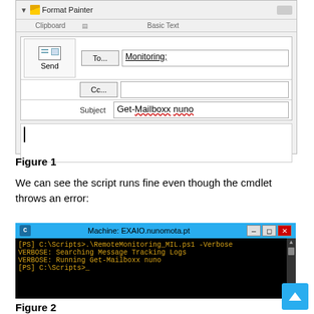[Figure (screenshot): Outlook compose window showing toolbar with Format Painter, Clipboard and Basic Text sections, To field with 'Monitoring;', Cc field empty, Subject field with 'Get-Mailboxx nuno', and empty message body with cursor]
Figure 1
We can see the script runs fine even though the cmdlet throws an error:
[Figure (screenshot): PowerShell terminal window titled 'Machine: EXAIO.nunomota.pt' showing commands: [PS] C:\Scripts>.\RemoteMonitoring_MIL.ps1 -Verbose, VERBOSE: Searching Message Tracking Logs, VERBOSE: Running Get-Mailboxx nuno, [PS] C:\Scripts>_]
Figure 2
But what exactly do we get back? The script returns exactly what we expected: the error returned by the